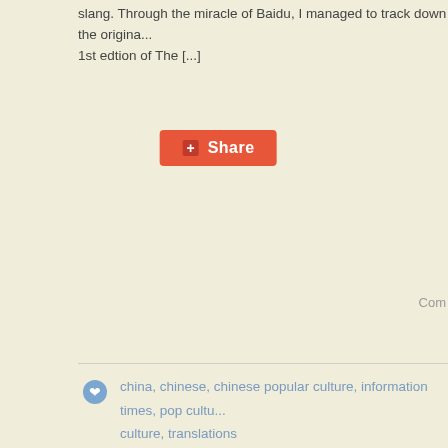slang. Through the miracle of Baidu, I managed to track down the original 1st edtion of The [...]
[Figure (other): Orange Share button with plus icon]
Com
china, chinese, chinese popular culture, information times, pop culture, translations
Beijing Traffic Cop Dances Cha Cha, Directs Traffic
06 May 2009   By fiona   In offbeat news, street scene
Just when I'm about to give up on this blog, I came across this post...